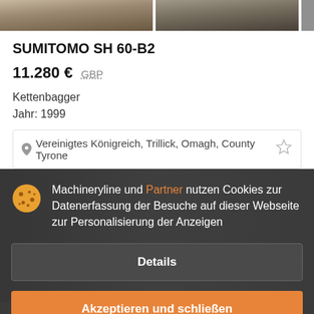[Figure (photo): Partial top strip showing cropped machinery/excavator images in two panels]
SUMITOMO SH 60-B2
11.280 €  GBP
Kettenbagger
Jahr: 1999
Vereinigtes Königreich, Trillick, Omagh, County Tyrone
Machineryline und Partner nutzen Cookies zur Datenerfassung der Besuche auf dieser Webseite zur Personalisierung der Anzeigen
Details
Akzeptieren und schließen
SU...
59.000 €